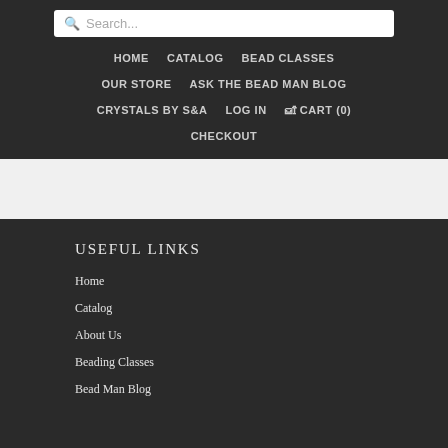Search...
HOME
CATALOG
BEAD CLASSES
OUR STORE
ASK THE BEAD MAN BLOG
CRYSTALS BY S&A
LOG IN
🛒 CART (0)
CHECKOUT
USEFUL LINKS
Home
Catalog
About Us
Beading Classes
Bead Man Blog